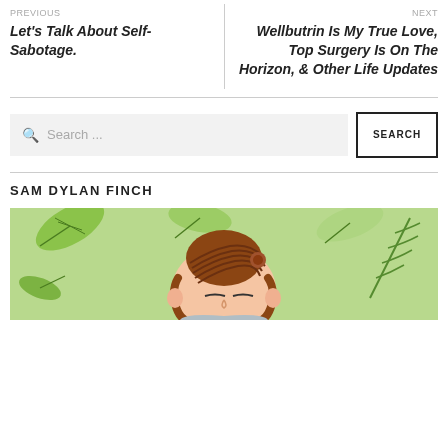PREVIOUS
Let's Talk About Self-Sabotage.
NEXT
Wellbutrin Is My True Love, Top Surgery Is On The Horizon, & Other Life Updates
Search ...
SEARCH
SAM DYLAN FINCH
[Figure (illustration): Illustrated portrait of a person with reddish-brown hair in a bun, surrounded by green leaves on a light green background.]